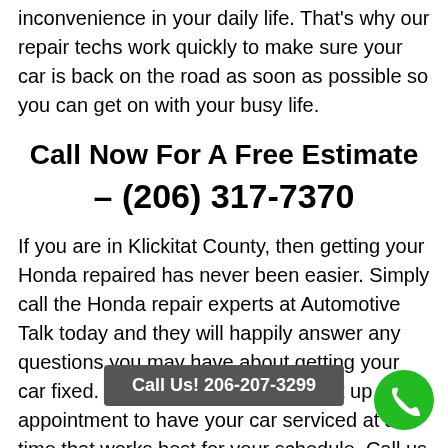inconvenience in your daily life. That's why our repair techs work quickly to make sure your car is back on the road as soon as possible so you can get on with your busy life.
Call Now For A Free Estimate – (206) 317-7370
If you are in Klickitat County, then getting your Honda repaired has never been easier. Simply call the Honda repair experts at Automotive Talk today and they will happily answer any questions you may have about getting your car fixed. They will even help you set up an appointment to have your car serviced at a time that works best for your schedule. Call us today and we are confident that you will be satisfied with both the quality of work and the customer
Call Us! 206-207-3299